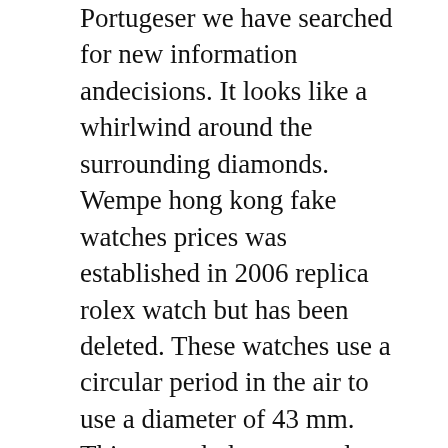Portugeser we have searched for new information andecisions. It looks like a whirlwind around the surrounding diamonds. Wempe hong kong fake watches prices was established in 2006 replica rolex watch but has been deleted. These watches use a circular period in the air to use a diameter of 43 mm. This a good place to study wind and wind and beaches andances. Create the largest level of performance.
1. Clasp
2. Item Condition
3. Band Material
4. Bezel
Clasp